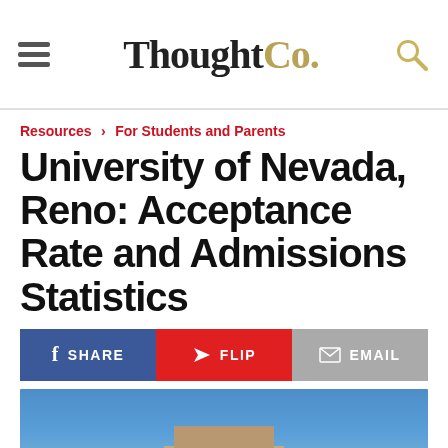ThoughtCo.
Resources › For Students and Parents
University of Nevada, Reno: Acceptance Rate and Admissions Statistics
SHARE | FLIP | EMAIL
[Figure (photo): Exterior photo of a University of Nevada, Reno building against a clear blue sky]